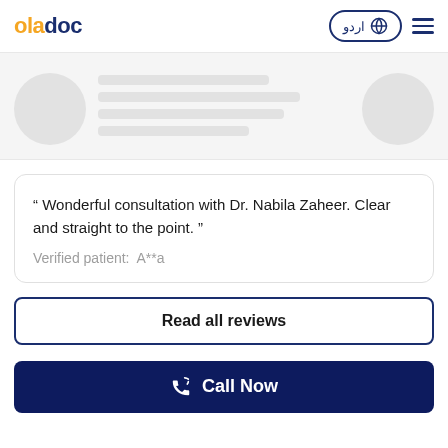oladoc
[Figure (screenshot): Skeleton loading placeholder with two circular avatars and grey content lines]
" Wonderful consultation with Dr. Nabila Zaheer. Clear and straight to the point. "
Verified patient:  A**a
Read all reviews
Call Now